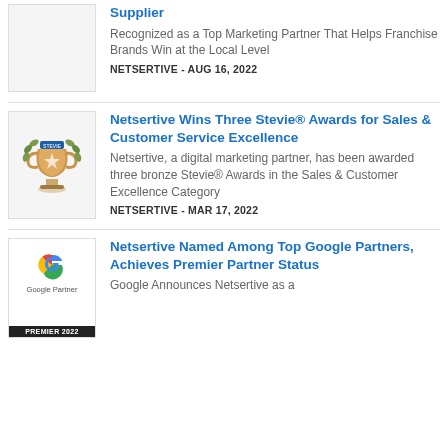[Figure (logo): Placeholder/empty thumbnail for first article]
Supplier
Recognized as a Top Marketing Partner That Helps Franchise Brands Win at the Local Level
NETSERTIVE - AUG 16, 2022
[Figure (logo): Stevie Awards trophy logo with laurel wreath]
Netsertive Wins Three Stevie® Awards for Sales & Customer Service Excellence
Netsertive, a digital marketing partner, has been awarded three bronze Stevie® Awards in the Sales & Customer Excellence Category
NETSERTIVE - MAR 17, 2022
[Figure (logo): Google Partner Premier 2022 badge with Google G logo]
Netsertive Named Among Top Google Partners, Achieves Premier Partner Status
Google Announces Netsertive as a